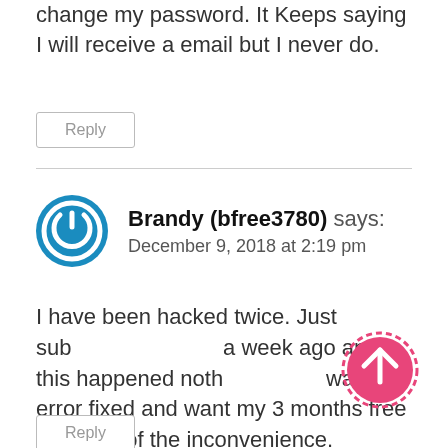change my password. It Keeps saying I will receive a email but I never do.
Reply
Brandy (bfree3780) says:
December 9, 2018 at 2:19 pm
I have been hacked twice. Just sub a week ago and this happened noth want error fixed and want my 3 months free because of the inconvenience.
Reply